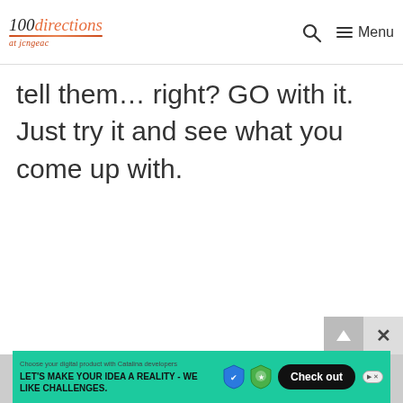100directions at jcngeac — Search — Menu
tell them… right? GO with it. Just try it and see what you come up with.
[Figure (screenshot): Advertisement banner: green background with 'LET'S MAKE YOUR IDEA A REALITY - WE LIKE CHALLENGES.' text and 'Check out' button]